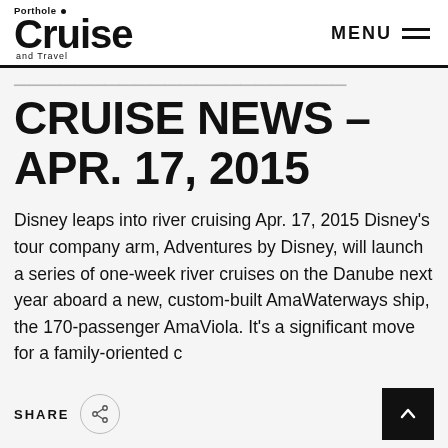Porthole Cruise and Travel — MENU
CRUISE NEWS – APR. 17, 2015
Disney leaps into river cruising Apr. 17, 2015 Disney's tour company arm, Adventures by Disney, will launch a series of one-week river cruises on the Danube next year aboard a new, custom-built AmaWaterways ship, the 170-passenger AmaViola. It's a significant move for a family-oriented c
SHARE